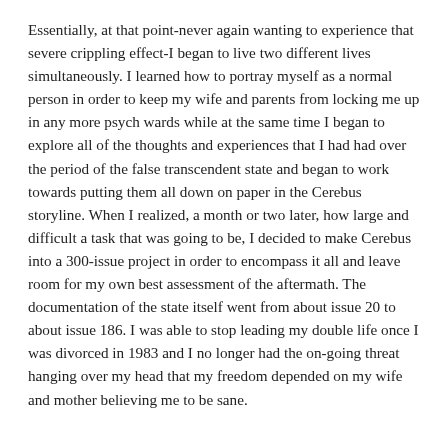Essentially, at that point-never again wanting to experience that severe crippling effect-I began to live two different lives simultaneously. I learned how to portray myself as a normal person in order to keep my wife and parents from locking me up in any more psych wards while at the same time I began to explore all of the thoughts and experiences that I had had over the period of the false transcendent state and began to work towards putting them all down on paper in the Cerebus storyline. When I realized, a month or two later, how large and difficult a task that was going to be, I decided to make Cerebus into a 300-issue project in order to encompass it all and leave room for my own best assessment of the aftermath. The documentation of the state itself went from about issue 20 to about issue 186. I was able to stop leading my double life once I was divorced in 1983 and I no longer had the on-going threat hanging over my head that my freedom depended on my wife and mother believing me to be sane.